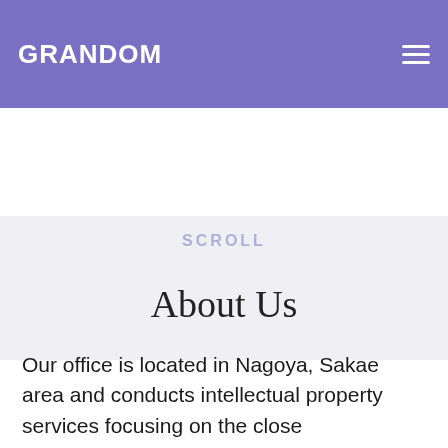GRANDOM
SCROLL
About Us
Our office is located in Nagoya, Sakae area and conducts intellectual property services focusing on the close communication with our